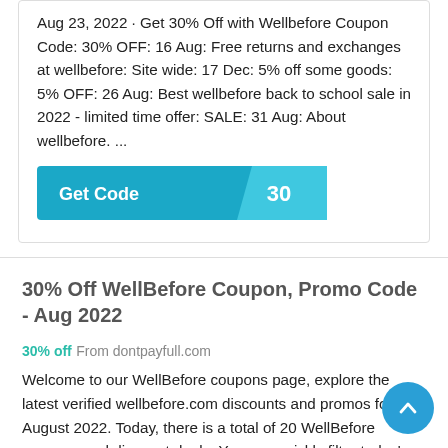Aug 23, 2022 · Get 30% Off with Wellbefore Coupon Code: 30% OFF: 16 Aug: Free returns and exchanges at wellbefore: Site wide: 17 Dec: 5% off some goods: 5% OFF: 26 Aug: Best wellbefore back to school sale in 2022 - limited time offer: SALE: 31 Aug: About wellbefore. ...
[Figure (other): Get Code button with code reveal showing '30']
30% Off WellBefore Coupon, Promo Code - Aug 2022
30% off From dontpayfull.com
Welcome to our WellBefore coupons page, explore the latest verified wellbefore.com discounts and promos for August 2022. Today, there is a total of 20 WellBefore coupons and discount deals. You can quickly filter today's WellBefore coupons by...